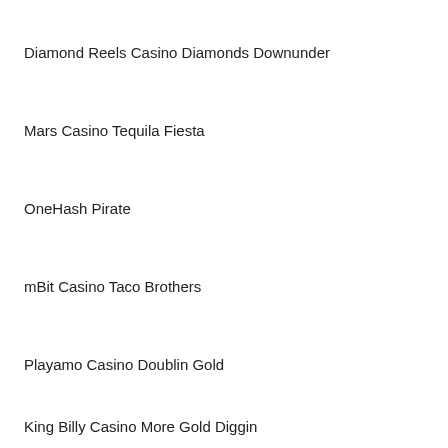Diamond Reels Casino Diamonds Downunder
Mars Casino Tequila Fiesta
OneHash Pirate
mBit Casino Taco Brothers
Playamo Casino Doublin Gold
King Billy Casino More Gold Diggin